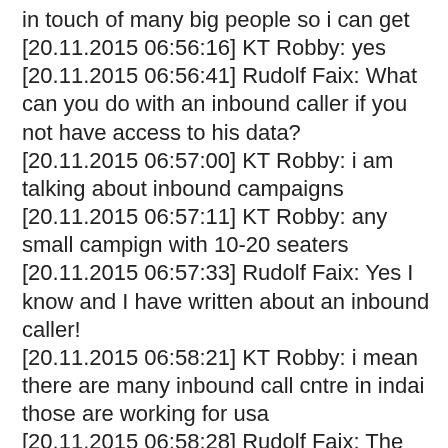in touch of many big people so i can get
[20.11.2015 06:56:16] KT Robby: yes
[20.11.2015 06:56:41] Rudolf Faix: What can you do with an inbound caller if you not have access to his data?
[20.11.2015 06:57:00] KT Robby: i am talking about inbound campaigns
[20.11.2015 06:57:11] KT Robby: any small campign with 10-20 seaters
[20.11.2015 06:57:33] Rudolf Faix: Yes I know and I have written about an inbound caller!
[20.11.2015 06:58:21] KT Robby: i mean there are many inbound call cntre in indai those are working for usa
[20.11.2015 06:58:28] Rudolf Faix: The same reason why there are no backoffice campaigns available are no inbound campaigns available
[20.11.2015 07:00:16] Rudolf Faix: Not one center from India has an Inbound